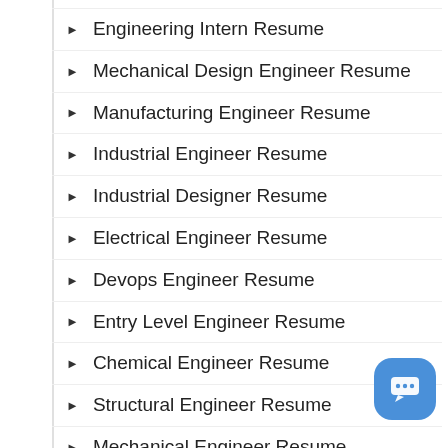Engineering Intern Resume
Mechanical Design Engineer Resume
Manufacturing Engineer Resume
Industrial Engineer Resume
Industrial Designer Resume
Electrical Engineer Resume
Devops Engineer Resume
Entry Level Engineer Resume
Chemical Engineer Resume
Structural Engineer Resume
Mechanical Engineer Resume